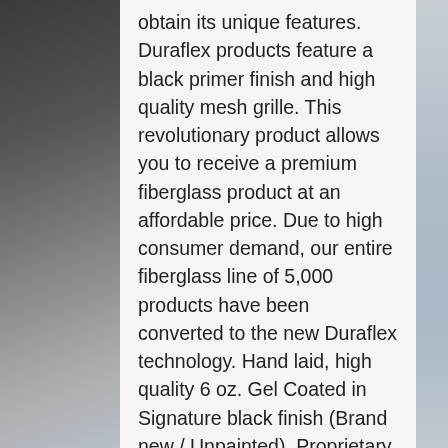obtain its unique features. Duraflex products feature a black primer finish and high quality mesh grille. This revolutionary product allows you to receive a premium fiberglass product at an affordable price. Due to high consumer demand, our entire fiberglass line of 5,000 products have been converted to the new Duraflex technology. Hand laid, high quality 6 oz. Gel Coated in Signature black finish (Brand new / Unpainted). Proprietary polymer blend for maxiumim flexibility. High quality weather resistant aluminum mesh grille (where applicable, is not guaranteed for all). Increased durability and longer service life. Reduced damage rate up to 75%. Parts such as mesh grilles, lights, splitters, canards, paint, wings, decals, and other accessories are not included unless specified in the product description. Pictures are meant to show the style of the item(s) in the listing and in some cases may not necessarily